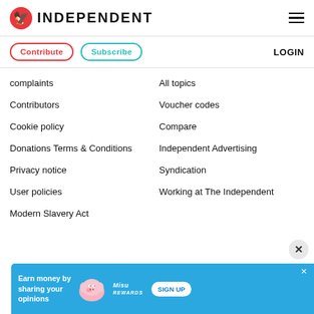INDEPENDENT
Contribute
Subscribe
LOGIN
complaints
Contributors
Cookie policy
Donations Terms & Conditions
Privacy notice
User policies
Modern Slavery Act
All topics
Voucher codes
Compare
Independent Advertising
Syndication
Working at The Independent
[Figure (infographic): Advertisement banner with blue background: Earn money by sharing your opinions, pig illustration, MisuRewards logo, SIGN UP button]